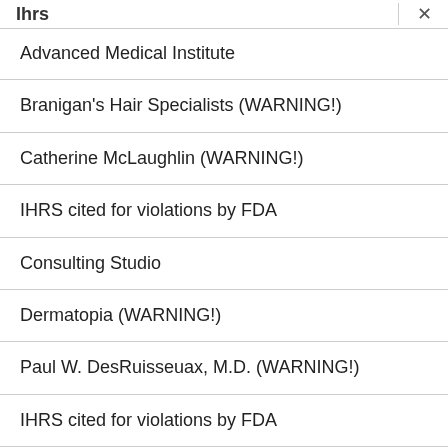Ihrs
Advanced Medical Institute
Branigan's Hair Specialists (WARNING!)
Catherine McLaughlin (WARNING!)
IHRS cited for violations by FDA
Consulting Studio
Dermatopia (WARNING!)
Paul W. DesRuisseuax, M.D. (WARNING!)
IHRS cited for violations by FDA
Rejuvenu cited for violations by FDA